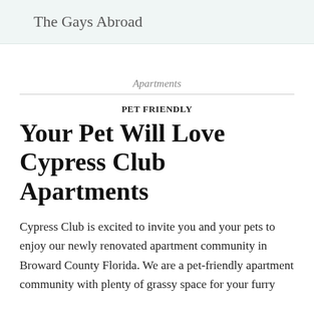The Gays Abroad
Apartments
PET FRIENDLY
Your Pet Will Love Cypress Club Apartments
Cypress Club is excited to invite you and your pets to enjoy our newly renovated apartment community in Broward County Florida. We are a pet-friendly apartment community with plenty of grassy space for your furry